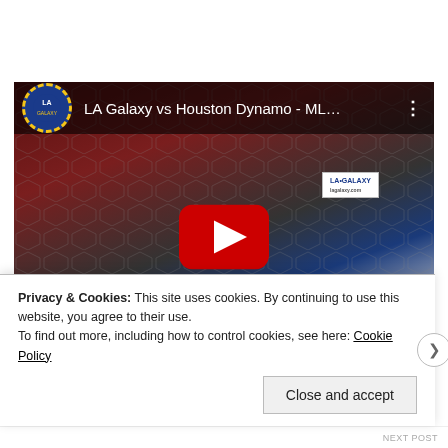[Figure (screenshot): YouTube video embed showing 'LA Galaxy vs Houston Dynamo - ML...' with a play button overlay. The video thumbnail shows soccer players on a field with hexagonal net pattern, players in red and blue/white uniforms. The video has a top bar with the LA Galaxy YouTube channel logo and video title. A large red YouTube play button is centered on the video.]
Privacy & Cookies: This site uses cookies. By continuing to use this website, you agree to their use.
To find out more, including how to control cookies, see here: Cookie Policy
Close and accept